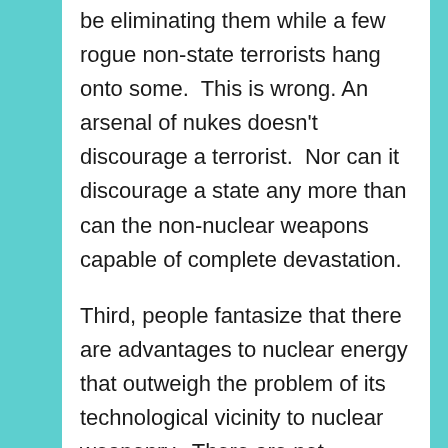be eliminating them while a few rogue non-state terrorists hang onto some.  This is wrong. An arsenal of nukes doesn't discourage a terrorist.  Nor can it discourage a state any more than can the non-nuclear weapons capable of complete devastation.
Third, people fantasize that there are advantages to nuclear energy that outweigh the problem of its technological vicinity to nuclear weaponry.  There are not.  Nuclear energy barely reproduces the amount of energy it takes to build and operate the plants; the waste materials cannot be put anywhere safe for 250,000 years; and the inevitable accidents pose such a risk that no private “free-market” insurance company will take it on.  Nuclear energy is